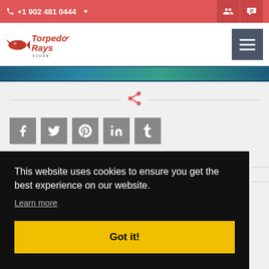+1 902 481 0444
[Figure (logo): Torpedo Rays Scuba logo with stylized text and fish/ray graphic]
[Figure (photo): Partial underwater/scuba diving hero image strip]
[Figure (infographic): Share icon (curved arrow) with horizontal divider lines on either side]
[Figure (infographic): Social media share buttons: Facebook (f), Twitter (bird), Pinterest (P), LinkedIn (in), Tumblr (t)]
This website uses cookies to ensure you get the best experience on our website.
Learn more
Got it!
+1 902 481 0444